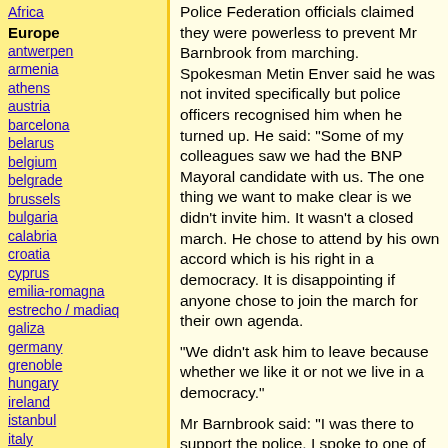Africa
Europe
antwerpen
armenia
athens
austria
barcelona
belarus
belgium
belgrade
brussels
bulgaria
calabria
croatia
cyprus
emilia-romagna
estrecho / madiaq
galiza
germany
grenoble
hungary
ireland
istanbul
italy
la plana
liege
liguria
lille
linksunten
Police Federation officials claimed they were powerless to prevent Mr Barnbrook from marching. Spokesman Metin Enver said he was not invited specifically but police officers recognised him when he turned up. He said: "Some of my colleagues saw we had the BNP Mayoral candidate with us. The one thing we want to make clear is we didn't invite him. It wasn't a closed march. He chose to attend by his own accord which is his right in a democracy. It is disappointing if anyone chose to join the march for their own agenda.
"We didn't ask him to leave because whether we like it or not we live in a democracy."
Mr Barnbrook said: "I was there to support the police. I spoke to one of the organisers of the march